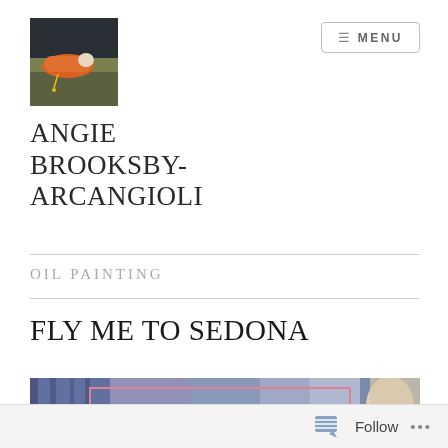[Figure (photo): Small square painting thumbnail showing a reclining figure on a blue/grey background, used as site logo]
ANGIE BROOKSBY-ARCANGIOLI
OIL PAINTING
FLY ME TO SEDONA
[Figure (photo): Partial view of a painting 'Fly Me to Sedona' — abstract background in blues and purples with a pink rectangle outline and cream/ivory figure on the right]
Follow ...